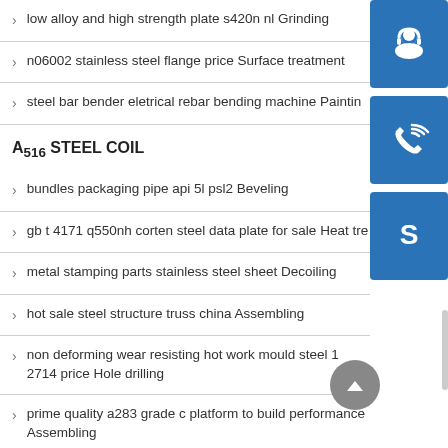low alloy and high strength plate s420n nl Grinding
n06002 stainless steel flange price Surface treatment
steel bar bender eletrical rebar bending machine Painting
A516 STEEL COIL
bundles packaging pipe api 5l psl2 Beveling
gb t 4171 q550nh corten steel data plate for sale Heat tre
metal stamping parts stainless steel sheet Decoiling
hot sale steel structure truss china Assembling
non deforming wear resisting hot work mould steel 1 2714 price Hole drilling
prime quality a283 grade c platform to build performance Assembling